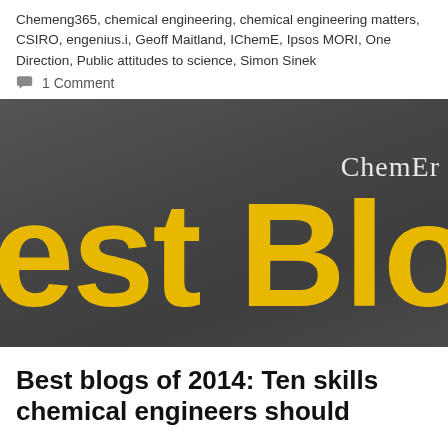Chemeng365, chemical engineering, chemical engineering matters, CSIRO, engenius.i, Geoff Maitland, IChemE, Ipsos MORI, One Direction, Public attitudes to science, Simon Sinek
1 Comment
[Figure (illustration): Dark chalkboard background image with 'ChemEng' text in white/light grey in the upper right, and large yellow bold text 'est Blo' (partial text, cropped) dominating the lower portion, appearing to read 'Best Blog']
Best blogs of 2014: Ten skills chemical engineers should